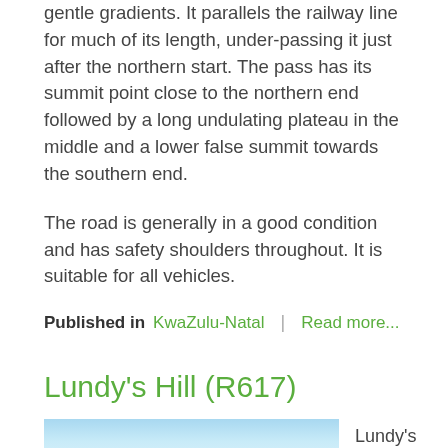gentle gradients. It parallels the railway line for much of its length, under-passing it just after the northern start. The pass has its summit point close to the northern end followed by a long undulating plateau in the middle and a lower false summit towards the southern end.
The road is generally in a good condition and has safety shoulders throughout. It is suitable for all vehicles.
Published in  KwaZulu-Natal  |  Read more...
Lundy's Hill (R617)
[Figure (photo): Partial photo of Lundy's Hill with blue sky and gradient, cropped at bottom of page]
Lundy's Hill